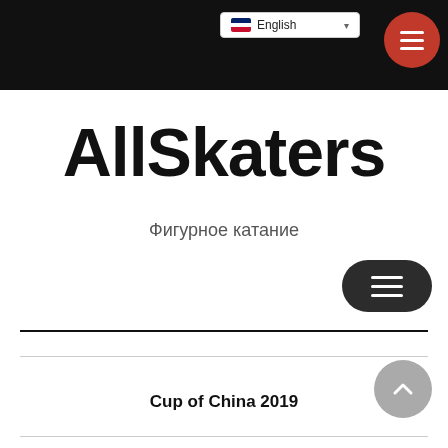English (language selector)
AllSkaters
Фигурное катание
Cup of China 2019